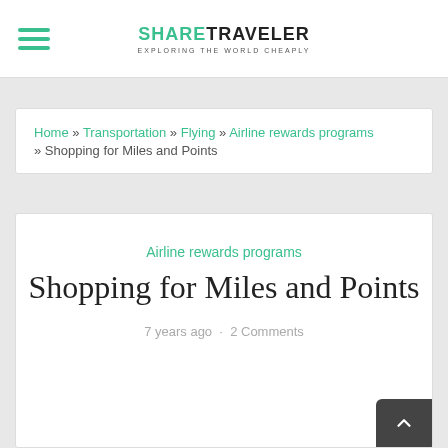SHARE TRAVELER — EXPLORING THE WORLD CHEAPLY
Home » Transportation » Flying » Airline rewards programs » Shopping for Miles and Points
Airline rewards programs
Shopping for Miles and Points
7 years ago · 2 Comments